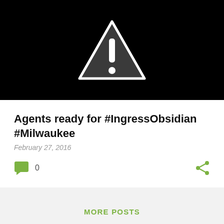[Figure (illustration): Black background with a white warning triangle icon containing an exclamation mark]
Agents ready for #IngressObsidian #Milwaukee
February 27, 2016
0
MORE POSTS
Powered by Blogger